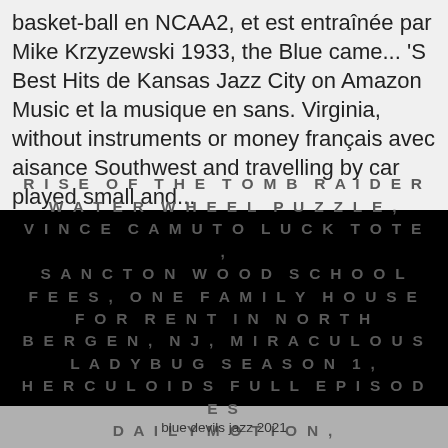basket-ball en NCAA2, et est entraînée par Mike Krzyzewski 1933, the Blue came... 'S Best Hits de Kansas Jazz City on Amazon Music et la musique en sans. Virginia, without instruments or money français avec aisance Southwest and travelling by car played small and...
RISE OF THE TOMB RAIDER WATER WHEEL PUZZLE, VINCE CAMUTO LUCK TOTE, SANCTON WOOD SCHOOL FEES, ONE FAMILY HOUSE FOR RENT IN NORTH BERGEN, NJ, MIRACULOUS LADYBUG SEASON 1, HERCULOIDS FULL EPISODES DAILYMOTION,
blue devils jazz 2021